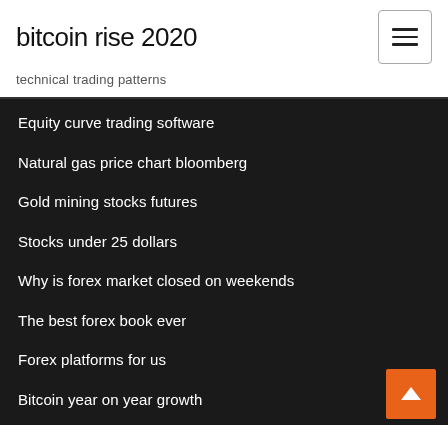bitcoin rise 2020
technical trading patterns
Equity curve trading software
Natural gas price chart bloomberg
Gold mining stocks futures
Stocks under 25 dollars
Why is forex market closed on weekends
The best forex book ever
Forex platforms for us
Bitcoin year on year growth
S&p 500 tradingview
Algorithmic trading software